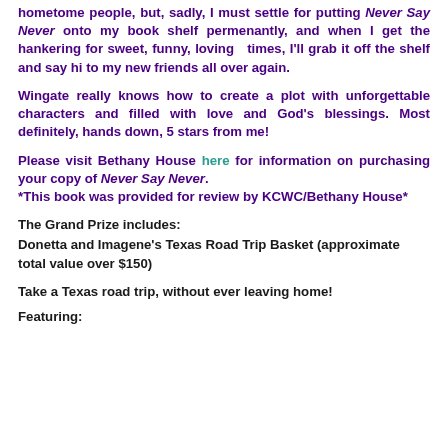hometome people, but, sadly, I must settle for putting Never Say Never onto my book shelf permenantly, and when I get the hankering for sweet, funny, loving   times, I'll grab it off the shelf and say hi to my new friends all over again.
Wingate really knows how to create a plot with unforgettable characters and filled with love and God's blessings. Most definitely, hands down, 5 stars from me!
Please visit Bethany House here for information on purchasing your copy of Never Say Never.
*This book was provided for review by KCWC/Bethany House*
The Grand Prize includes:
Donetta and Imagene's Texas Road Trip Basket (approximate total value over $150)
Take a Texas road trip, without ever leaving home!
Featuring: